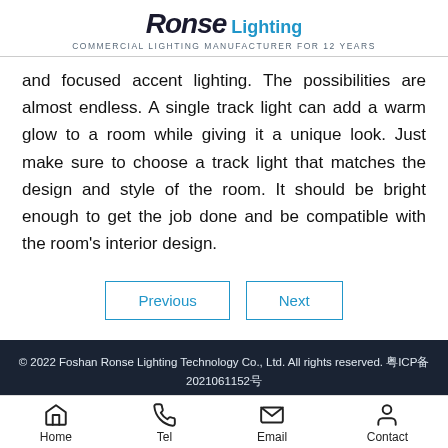Ronse Lighting — COMMERCIAL LIGHTING MANUFACTURER FOR 12 YEARS
and focused accent lighting. The possibilities are almost endless. A single track light can add a warm glow to a room while giving it a unique look. Just make sure to choose a track light that matches the design and style of the room. It should be bright enough to get the job done and be compatible with the room's interior design.
Previous  Next
© 2022 Foshan Ronse Lighting Technology Co., Ltd. All rights reserved. 粤ICP备2021061152号
Home  Tel  Email  Contact